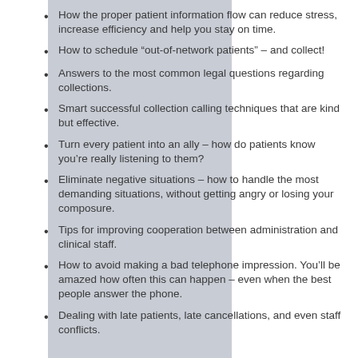How the proper patient information flow can reduce stress, increase efficiency and help you stay on time.
How to schedule “out-of-network patients” – and collect!
Answers to the most common legal questions regarding collections.
Smart successful collection calling techniques that are kind but effective.
Turn every patient into an ally – how do patients know you’re really listening to them?
Eliminate negative situations – how to handle the most demanding situations, without getting angry or losing your composure.
Tips for improving cooperation between administration and clinical staff.
How to avoid making a bad telephone impression. You’ll be amazed how often this can happen – even when the best people answer the phone.
Dealing with late patients, late cancellations, and even staff conflicts.